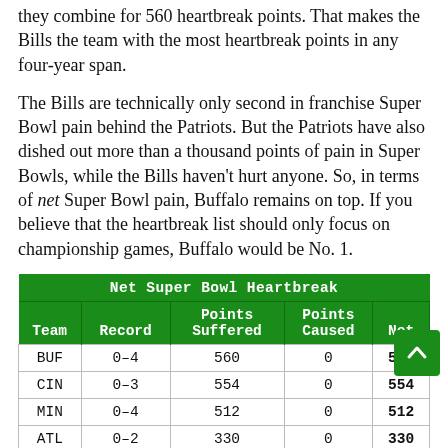they combine for 560 heartbreak points. That makes the Bills the team with the most heartbreak points in any four-year span.
The Bills are technically only second in franchise Super Bowl pain behind the Patriots. But the Patriots have also dished out more than a thousand points of pain in Super Bowls, while the Bills haven't hurt anyone. So, in terms of net Super Bowl pain, Buffalo remains on top. If you believe that the heartbreak list should only focus on championship games, Buffalo would be No. 1.
| Team | Record | Points Suffered | Points Caused | Net |
| --- | --- | --- | --- | --- |
| BUF | 0–4 | 560 | 0 | 560 |
| CIN | 0–3 | 554 | 0 | 554 |
| MIN | 0–4 | 512 | 0 | 512 |
| ATL | 0–2 | 330 | 0 | 330 |